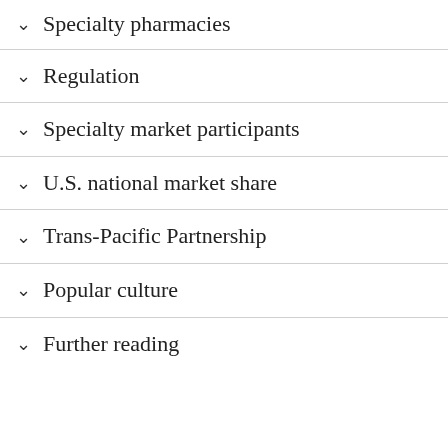Specialty pharmacies
Regulation
Specialty market participants
U.S. national market share
Trans-Pacific Partnership
Popular culture
Further reading